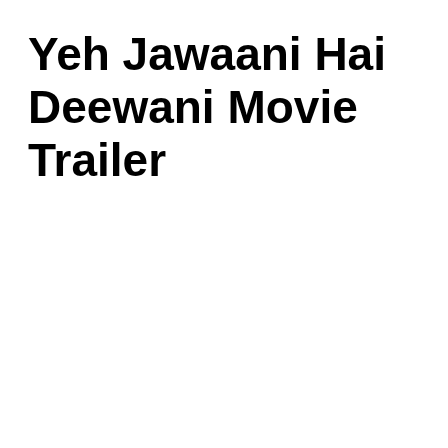Yeh Jawaani Hai Deewani Movie Trailer